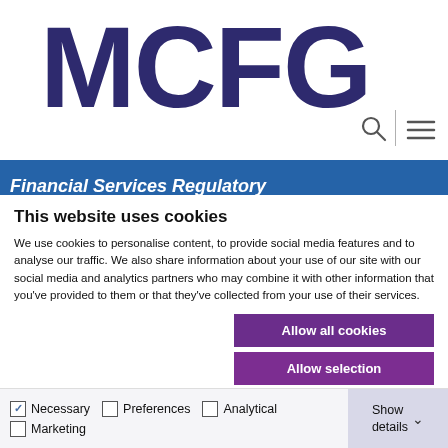MCFG
[Figure (logo): MCFG logo in dark navy/indigo bold text]
Financial Services Regulatory
This website uses cookies
We use cookies to personalise content, to provide social media features and to analyse our traffic. We also share information about your use of our site with our social media and analytics partners who may combine it with other information that you've provided to them or that they've collected from your use of their services.
Allow all cookies
Allow selection
Use necessary cookies only
Necessary  Preferences  Analytical  Marketing  Show details